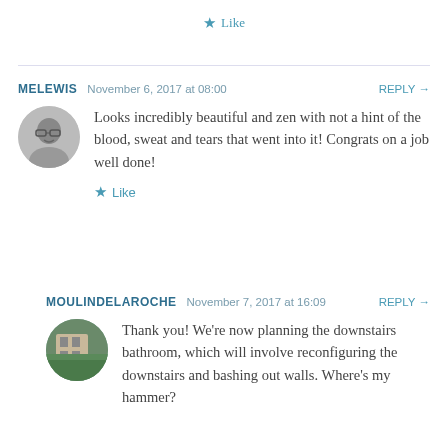Like
MELEWIS   November 6, 2017 at 08:00   REPLY →
Looks incredibly beautiful and zen with not a hint of the blood, sweat and tears that went into it! Congrats on a job well done!
Like
MOULINDELAROCHE   November 7, 2017 at 16:09   REPLY →
Thank you! We're now planning the downstairs bathroom, which will involve reconfiguring the downstairs and bashing out walls. Where's my hammer?